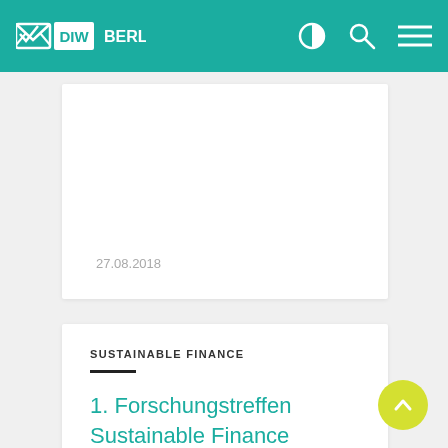DIW BERLIN
27.08.2018
SUSTAINABLE FINANCE
1. Forschungstreffen Sustainable Finance